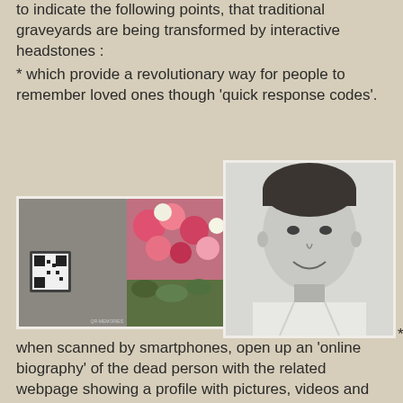to indicate the following points, that traditional graveyards are being transformed by interactive headstones :
* which provide a revolutionary way for people to remember loved ones though 'quick response codes'.
[Figure (photo): Photo of a gravestone with a QR code and pink flowers, labeled QR-MEMORIES]
[Figure (photo): Black and white portrait photo of a smiling middle-aged man in a white shirt]
when scanned by smartphones, open up an 'online biography' of the dead person with the related webpage showing a profile with pictures, videos and tributes from family and friends.and those given access to the website can also add tributes of their own.
* have embedded or glued on them, the £300 codes etched